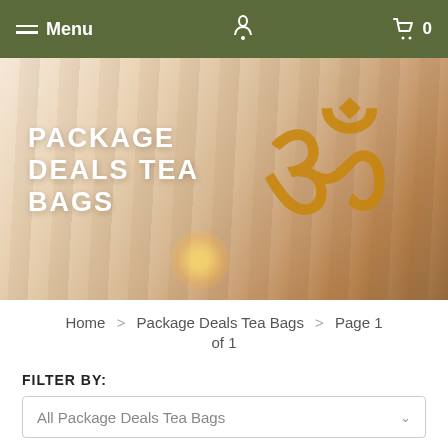Menu | [logo] | Cart 0
[Figure (photo): Hero banner image showing a golden Om symbol and a lit candle on a white wood surface, with text 'PACKAGE DEALS TEA BAGS' overlaid in white]
PACKAGE DEALS TEA BAGS
Home > Package Deals Tea Bags > Page 1 of 1
FILTER BY:
All Package Deals Tea Bags